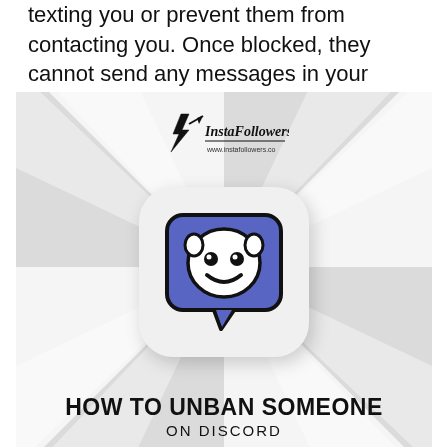texting you or prevent them from contacting you. Once blocked, they cannot send any messages in your private chat.
[Figure (infographic): InstaFollowers branded infographic with sunburst ray background, Discord logo icon in a rounded white card at center, and bold title text 'HOW TO UNBAN SOMEONE ON DISCORD' at the bottom.]